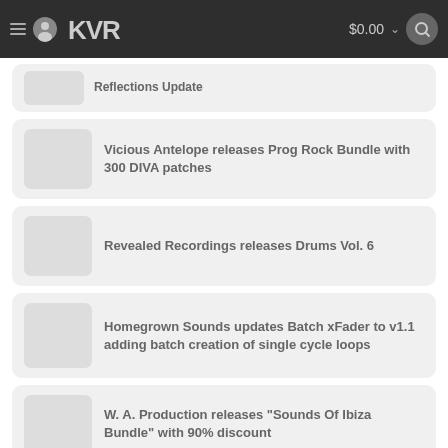KVR Audio navigation bar with logo, $0.00 cart, and search
Reflections Update
Vicious Antelope releases Prog Rock Bundle with 300 DIVA patches
Revealed Recordings releases Drums Vol. 6
Homegrown Sounds updates Batch xFader to v1.1 adding batch creation of single cycle loops
W. A. Production releases "Sounds Of Ibiza Bundle" with 90% discount